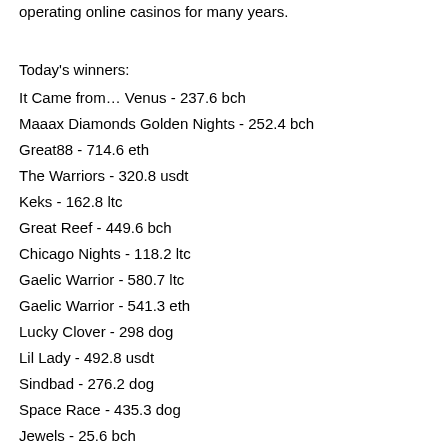operating online casinos for many years.
Today's winners:
It Came from… Venus - 237.6 bch
Maaax Diamonds Golden Nights - 252.4 bch
Great88 - 714.6 eth
The Warriors - 320.8 usdt
Keks - 162.8 ltc
Great Reef - 449.6 bch
Chicago Nights - 118.2 ltc
Gaelic Warrior - 580.7 ltc
Gaelic Warrior - 541.3 eth
Lucky Clover - 298 dog
Lil Lady - 492.8 usdt
Sindbad - 276.2 dog
Space Race - 435.3 dog
Jewels - 25.6 bch
Miss Fortune - 455.3 dog
Play Bitcoin slots:
Mars Casino Revenge of Cyborgs